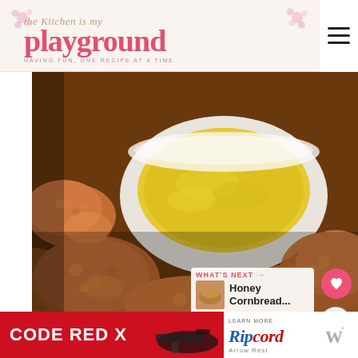the Kitchen is my playground - HAVING FUN, ONE RECIPE AT A TIME
[Figure (photo): Close-up photo of crispy breaded chicken nuggets arranged on a dark surface with a white bowl of honey mustard dipping sauce in the background]
WHAT'S NEXT → Honey Cornbread...
[Figure (advertisement): CODE RED X advertisement banner with Ripcord Arrow Rest product promotion]